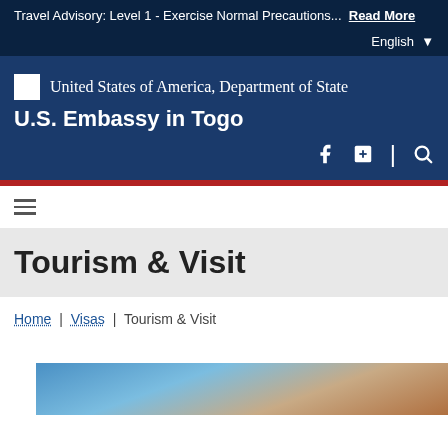Travel Advisory: Level 1 - Exercise Normal Precautions... Read More
English
[Figure (logo): United States of America, Department of State seal/logo and U.S. Embassy in Togo header with social icons]
Tourism & Visit
Home | Visas | Tourism & Visit